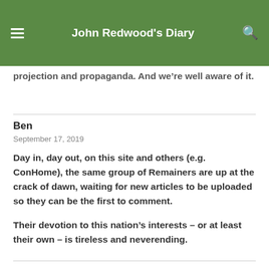John Redwood's Diary
projection and propaganda. And we're well aware of it.
Ben
September 17, 2019
Day in, day out, on this site and others (e.g. ConHome), the same group of Remainers are up at the crack of dawn, waiting for new articles to be uploaded so they can be the first to comment.
Their devotion to this nation's interests – or at least their own – is tireless and neverending.